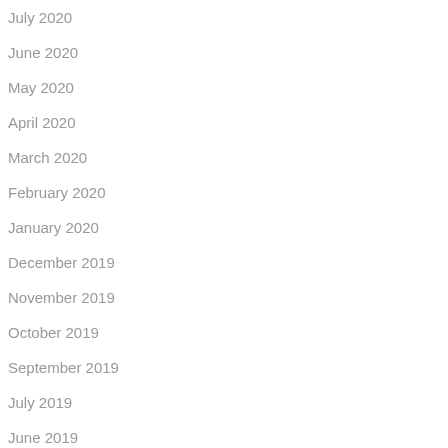July 2020
June 2020
May 2020
April 2020
March 2020
February 2020
January 2020
December 2019
November 2019
October 2019
September 2019
July 2019
June 2019